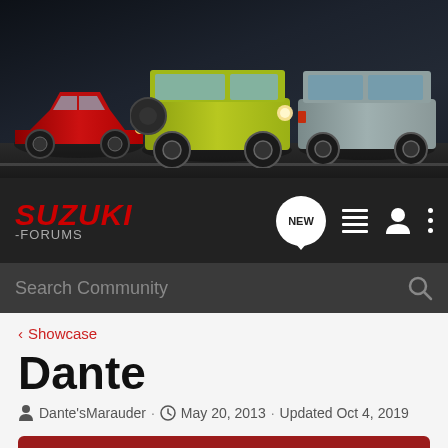[Figure (photo): Suzuki promotional banner showing three cars: a red hatchback (Swift), a yellow-green off-road vehicle (Jimny), and a silver SUV (Grand Vitara) on a dark urban background]
[Figure (logo): SUZUKI -FORUMS logo in red italic bold text on dark background, with navigation icons: NEW speech bubble button, list icon, user icon, and three-dot menu]
Search Community
< Showcase
Dante
Dante'sMarauder · May 20, 2013 · Updated Oct 4, 2019
+ Follow
Car Information